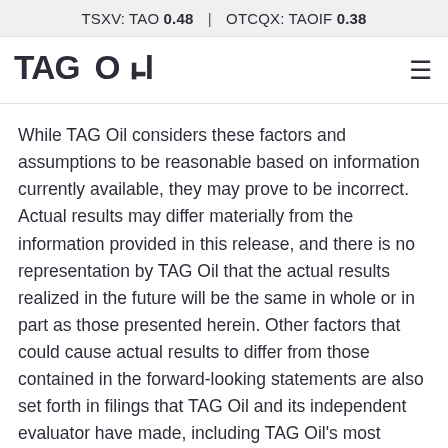TSXV: TAO 0.48  |  OTCQX: TAOIF 0.38
[Figure (logo): TAG Oil company logo — bold stylized text reading TAGOil]
While TAG Oil considers these factors and assumptions to be reasonable based on information currently available, they may prove to be incorrect. Actual results may differ materially from the information provided in this release, and there is no representation by TAG Oil that the actual results realized in the future will be the same in whole or in part as those presented herein. Other factors that could cause actual results to differ from those contained in the forward-looking statements are also set forth in filings that TAG Oil and its independent evaluator have made, including TAG Oil's most recently